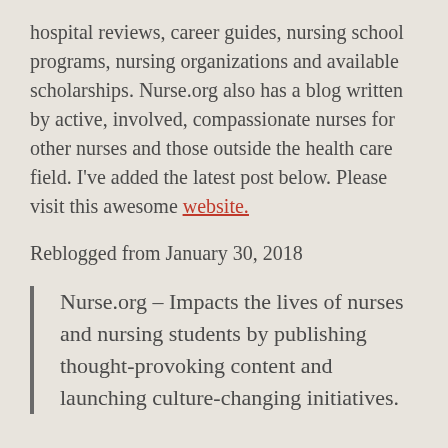hospital reviews, career guides, nursing school programs, nursing organizations and available scholarships. Nurse.org also has a blog written by active, involved, compassionate nurses for other nurses and those outside the health care field. I've added the latest post below. Please visit this awesome website.
Reblogged from January 30, 2018
Nurse.org – Impacts the lives of nurses and nursing students by publishing thought-provoking content and launching culture-changing initiatives.